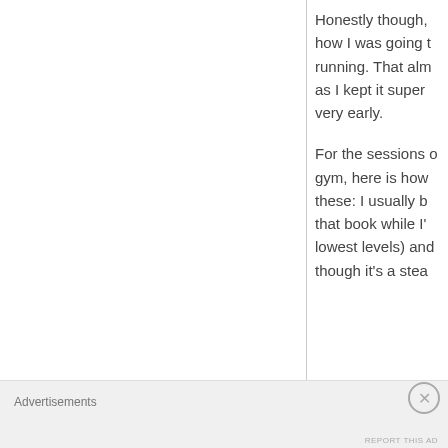Honestly though, how I was going to running. That alm as I kept it super very early.
For the sessions o gym, here is how these: I usually b that book while I' lowest levels) and though it's a stea
Advertisements